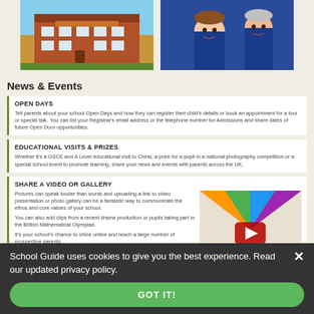[Figure (photo): Photo of a school building exterior with red brick facade and blue sky]
[Figure (photo): Photo of smiling children in blue school uniforms]
News & Events
OPEN DAYS
Tell parents about your school Open Days and how they can register their child's details or book an appointment for a tour or special talk. You can list your Registrar's email address or the telephone number for Admissions and share dates of future Open Door opportunities.
EDUCATIONAL VISITS & PRIZES
Whether it's a GSCE and A Level educational visit to China, a prize for a pupil in a national photography competition or a special school event to promote learning, share your news and events with parents across the UK.
SHARE A VIDEO OR GALLERY
Pictures can speak louder than words and uploading a link to video presentation or photo gallery can be a fantastic way to communicate the ethos and core values of your school.
You can also add clips from a recent drama production or pupils taking part in the British Mathematical Olympiad.
It's your school's chance to shine online and reach a large number of prospective parents.
[Figure (screenshot): Video thumbnail showing children playing with a colorful parachute, with a YouTube play button overlay]
School Guide uses cookies to give you the best experience. Read our updated privacy policy.
GOT IT!